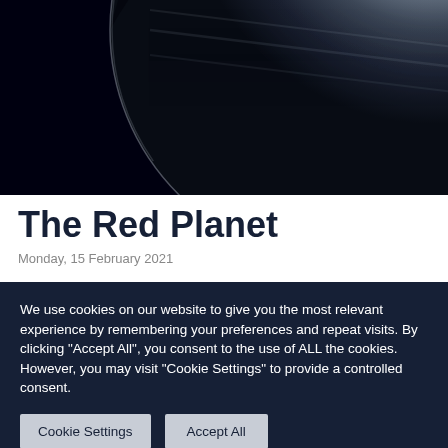[Figure (photo): Planet (appears to be Jupiter or similar gas giant) photographed against a black space background, crescent-lit from upper right, showing atmospheric cloud bands.]
The Red Planet
Monday, 15 February 2021
We use cookies on our website to give you the most relevant experience by remembering your preferences and repeat visits. By clicking "Accept All", you consent to the use of ALL the cookies. However, you may visit "Cookie Settings" to provide a controlled consent.
Cookie Settings | Accept All